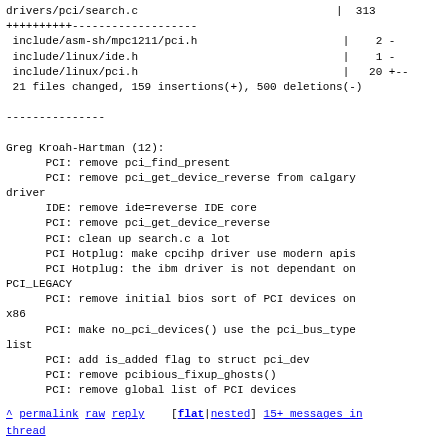drivers/pci/search.c                              |  313
++++++++++-------------------
 include/asm-sh/mpc1211/pci.h                       |    2 -
 include/linux/ide.h                                |    1 -
 include/linux/pci.h                                |   20 +--
 21 files changed, 159 insertions(+), 500 deletions(-)

---------------

Greg Kroah-Hartman (12):
      PCI: remove pci_find_present
      PCI: remove pci_get_device_reverse from calgary driver
      IDE: remove ide=reverse IDE core
      PCI: remove pci_get_device_reverse
      PCI: clean up search.c a lot
      PCI Hotplug: make cpcihp driver use modern apis
      PCI Hotplug: the ibm driver is not dependant on PCI_LEGACY
      PCI: remove initial bios sort of PCI devices on x86
      PCI: make no_pci_devices() use the pci_bus_type list
      PCI: add is_added flag to struct pci_dev
      PCI: remove pcibious_fixup_ghosts()
      PCI: remove global list of PCI devices
^ permalink raw reply   [flat|nested] 15+ messages in thread